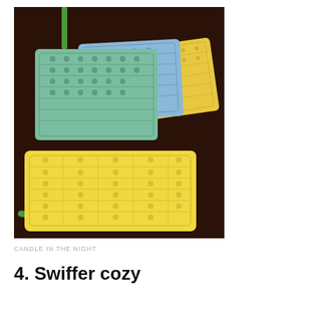[Figure (photo): Photograph of crocheted Swiffer cozy pads on a dark brown surface. Multiple pads in green, blue, and yellow are stacked/fanned in the upper portion. A single yellow rectangular crocheted pad is shown fitted on a green Swiffer mop handle in the lower portion.]
CANDLE IN THE NIGHT
4. Swiffer cozy